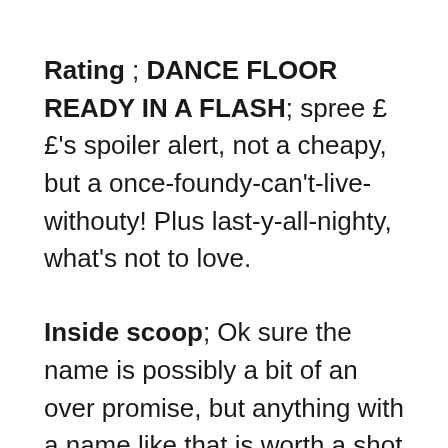Rating ; DANCE FLOOR READY IN A FLASH; spree ££'s spoiler alert, not a cheapy, but a once-foundy-can't-live-withouty! Plus last-y-all-nighty, what's not to love.
Inside scoop; Ok sure the name is possibly a bit of an over promise, but anything with a name like that is worth a shot I reckon. In fact that's exactly what it is; a quick-fix-in-a-flash-shot of